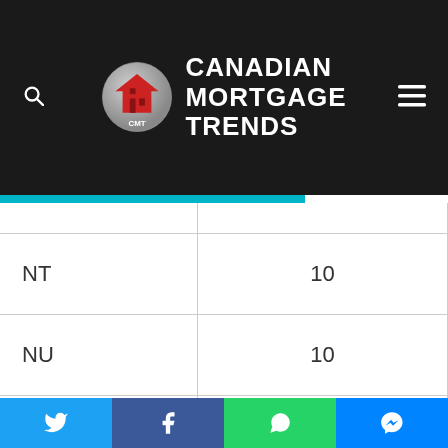[Figure (logo): Canadian Mortgage Trends website header with CMT logo (house icon) and site name in white bold text on dark background, with search and menu icons]
| Province | Value |
| --- | --- |
| NT | 10 |
| NU | 10 |
| PE | 2 |
| ON | 4 |
| QC | 9 |
[Figure (infographic): Social sharing bar with Twitter, Facebook, WhatsApp, and Messenger buttons]